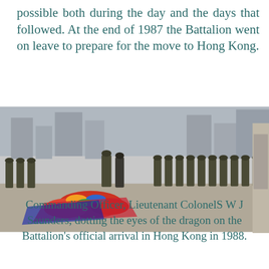possible both during the day and the days that followed. At the end of 1987 the Battalion went on leave to prepare for the move to Hong Kong.
[Figure (photo): A military ceremony photograph showing soldiers in uniform lined up while a commanding officer performs the dragon eye-dotting ceremony, with a colorful dragon on the ground in front of them. City buildings visible in the background.]
Commanding Officer, Lieutenant ColonelS W J Saunders, dotting the eyes of the dragon on the Battalion's official arrival in Hong Kong in 1988.